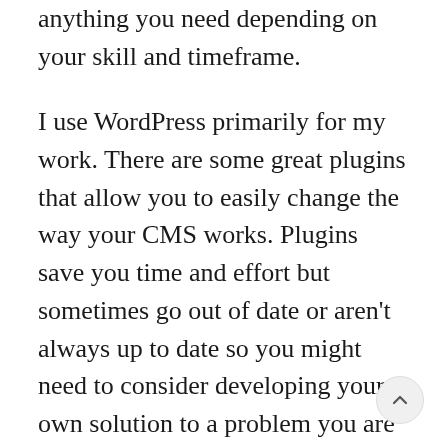anything you need depending on your skill and timeframe.
I use WordPress primarily for my work. There are some great plugins that allow you to easily change the way your CMS works. Plugins save you time and effort but sometimes go out of date or aren't always up to date so you might need to consider developing your own solution to a problem you are facing.
A great example of modifying a CMS to meet your needs is the Advanced Custom Fields plugin. This plugin allows you to create custom fields